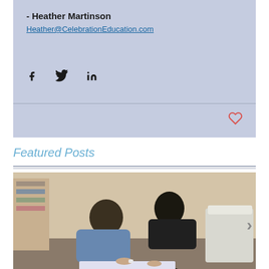- Heather Martinson
Heather@CelebrationEducation.com
[Figure (other): Social share icons: Facebook, Twitter, LinkedIn]
[Figure (other): Heart/like icon (outlined, red)]
Featured Posts
[Figure (photo): Two young boys lying/leaning on the floor reading a book in a room with shelves and storage bins]